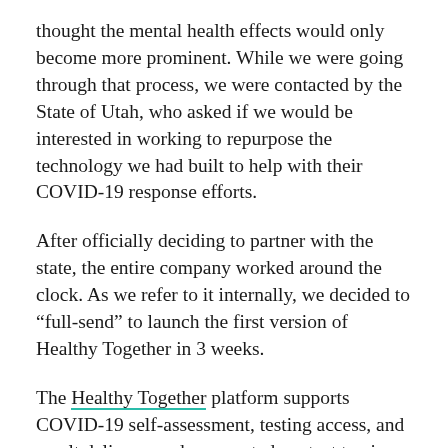thought the mental health effects would only become more prominent. While we were going through that process, we were contacted by the State of Utah, who asked if we would be interested in working to repurpose the technology we had built to help with their COVID-19 response efforts.
After officially deciding to partner with the state, the entire company worked around the clock. As we refer to it internally, we decided to “full-send” to launch the first version of Healthy Together in 3 weeks.
The Healthy Together platform supports COVID-19 self-assessment, testing access, and result delivery, and augmented contact tracing, as well as enterprise contact tracing, workflow tools, data integrations, and visualizations. Healthy Together is now being used by universities like BYU and companies like Traeger Grills. We will soon be announcing additional states, enterprise...